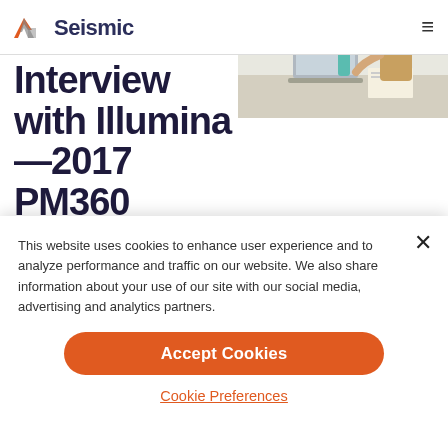Seismic
[Figure (photo): Woman sitting at a desk working on a laptop, smiling, photographed from the side in a bright office setting]
Interview with Illumina—2017 PM360
This website uses cookies to enhance user experience and to analyze performance and traffic on our website. We also share information about your use of our site with our social media, advertising and analytics partners.
Accept Cookies
Cookie Preferences